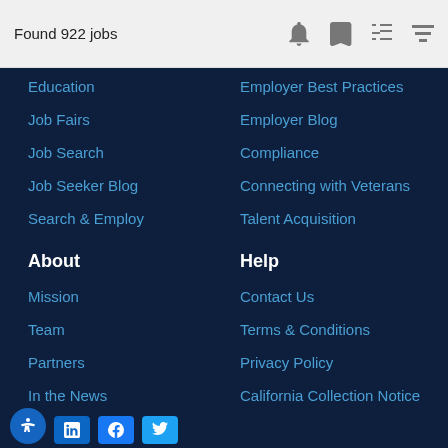Found 922 jobs
Education
Job Fairs
Job Search
Job Seeker Blog
Search & Employ
Employer Best Practices
Employer Blog
Compliance
Connecting with Veterans
Talent Acquisition
About
Mission
Team
Partners
In the News
Help
Contact Us
Terms & Conditions
Privacy Policy
California Collection Notice
Do Not Sell My Personal Information
SMS Terms of Service